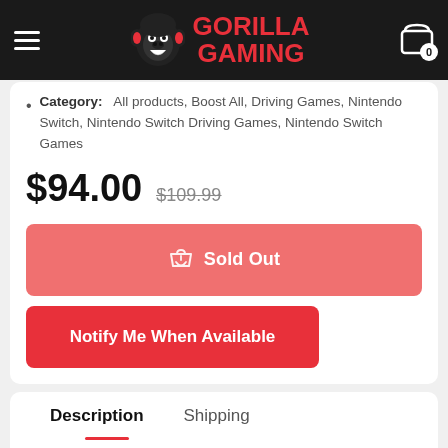[Figure (logo): Gorilla Gaming logo with gorilla head icon and red text 'GORILLA GAMING' on black header bar]
Category: All products, Boost All, Driving Games, Nintendo Switch, Nintendo Switch Driving Games, Nintendo Switch Games
$94.00  $109.99
🛒 Sold Out
Notify Me When Available
Description   Shipping